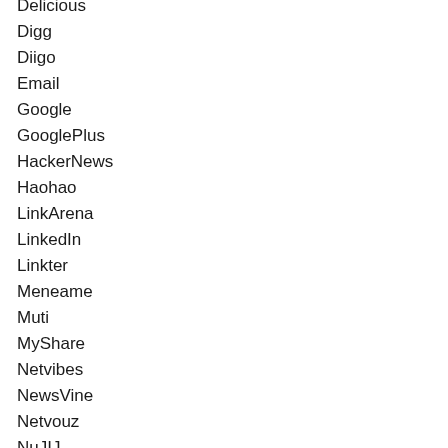Delicious
Digg
Diigo
Email
Google
GooglePlus
HackerNews
Haohao
LinkArena
LinkedIn
Linkter
Meneame
Muti
MyShare
Netvibes
NewsVine
Netvouz
NuJIJ